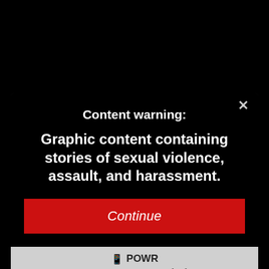Content warning:
Graphic content containing stories of sexual violence, assault, and harassment.
Continue
POWR
Popup - Create your own for free!